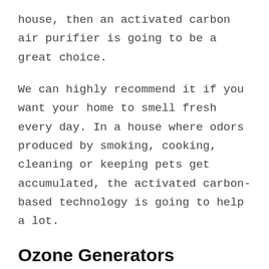house, then an activated carbon air purifier is going to be a great choice.
We can highly recommend it if you want your home to smell fresh every day. In a house where odors produced by smoking, cooking, cleaning or keeping pets get accumulated, the activated carbon-based technology is going to help a lot.
Ozone Generators
Ozone generators fill the air with charged particles that are called ions. As a result, the impurities in the air get attached to these